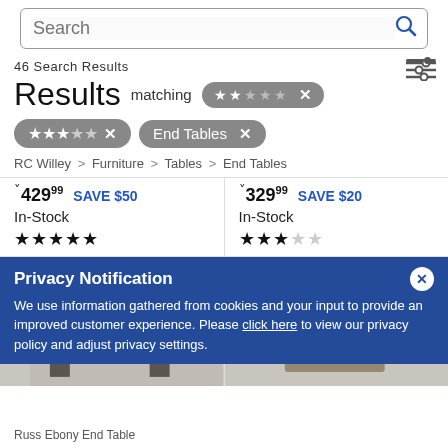[Figure (screenshot): Search bar with blue 'Search' placeholder text and blue magnifying glass icon]
46 Search Results
Results matching ★★☆☆☆ ×
★★★☆☆ × End Tables ×
RC Willey > Furniture > Tables > End Tables
˅429.99 SAVE $50 In-Stock ★★★★★
˅329.99 SAVE $20 In-Stock ★★★☆☆
[Figure (photo): Dark wood end table near window]
[Figure (photo): Light wood end table with vase decoration]
Privacy Notification
We use information gathered from cookies and your input to provide an improved customer experience. Please click here to view our privacy policy and adjust privacy settings.
Russ Ebony End Table